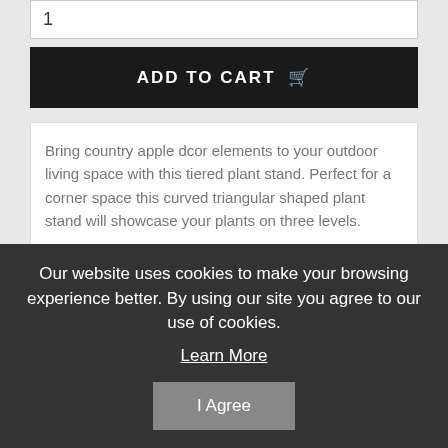1
ADD TO CART
Bring country apple dcor elements to your outdoor living space with this tiered plant stand. Perfect for a corner space this curved triangular shaped plant stand will showcase your plants on three levels.
Maximum weight limit: 4.4 lbs per level
Shelf heights: 11' 22' & 33'
Shelf lengths: 35.5' 23.5' & 12'
Shelves width: 8.5'
Item weight: 13.00lbs
Item dimensions: 25.00 W x 33.00 H x 35.50 L
Our website uses cookies to make your browsing experience better. By using our site you agree to our use of cookies.
Learn More
I Agree